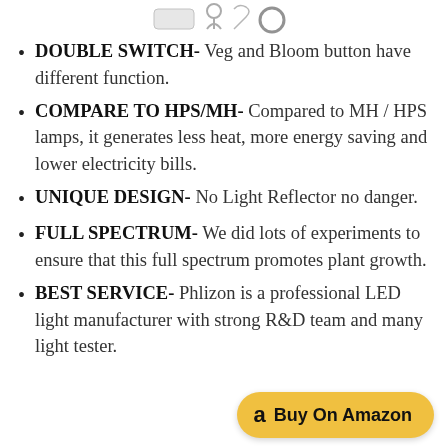[Figure (photo): Product accessory icons at top of page (clips, hooks, hanging hardware)]
DOUBLE SWITCH- Veg and Bloom button have different function.
COMPARE TO HPS/MH- Compared to MH / HPS lamps, it generates less heat, more energy saving and lower electricity bills.
UNIQUE DESIGN- No Light Reflector no danger.
FULL SPECTRUM- We did lots of experiments to ensure that this full spectrum promotes plant growth.
BEST SERVICE- Phlizon is a professional LED light manufacturer with strong R&D team and many light tester.